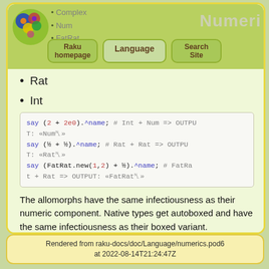[Figure (logo): Raku language colorful bug logo]
Complex
Num
FatRat
[Figure (screenshot): Navigation buttons: Raku homepage, Language, Search Site]
Rat
Int
say (2 + 2e0).^name; # Int + Num => OUTPUT: «Num␤»
say (½ + ½).^name; # Rat + Rat => OUTPUT: «Rat␤»
say (FatRat.new(1,2) + ½).^name; # FatRat + Rat => OUTPUT: «FatRat␤»
The allomorphs have the same infectiousness as their numeric component. Native types get autoboxed and have the same infectiousness as their boxed variant.
Rendered from raku-docs/doc/Language/numerics.pod6
at 2022-08-14T21:24:47Z